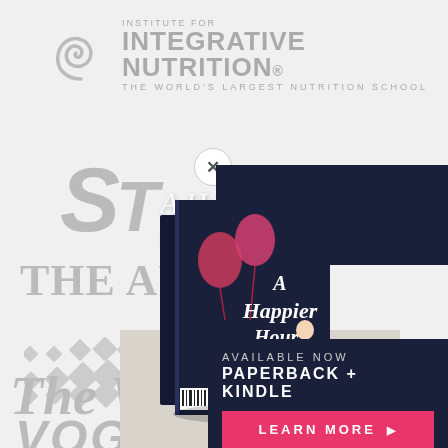[Figure (logo): Institute for Integrative Nutrition logo with spiral icon and text: INSTITUTE FOR INTEGRATIVE NUTRITION. THE WORLD'S LARGEST NUTRITION SCHOOL]
[Figure (logo): ST logo in grey italic bold font with an X button circle]
A Happier hour by Rebecca Weller
THE AUST
[Figure (illustration): Dot/diamond pattern logo partial]
The West
VEGAN
[Figure (photo): Book cover of A Happier Hour by Rebecca Weller - dark navy cover with woman in white dress and balloons]
AVAILABLE NOW
PAPERBACK + KINDLE
LEARN MORE ▶